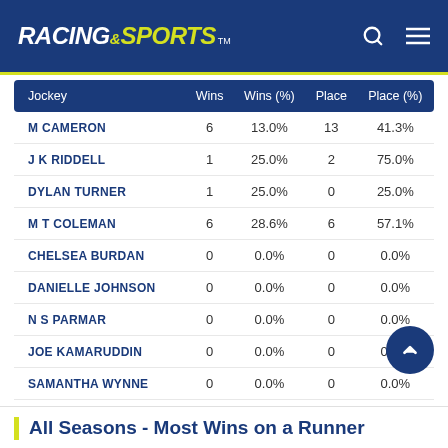RACING AND SPORTS
| Jockey | Wins | Wins (%) | Place | Place (%) |
| --- | --- | --- | --- | --- |
| M CAMERON | 6 | 13.0% | 13 | 41.3% |
| J K RIDDELL | 1 | 25.0% | 2 | 75.0% |
| DYLAN TURNER | 1 | 25.0% | 0 | 25.0% |
| M T COLEMAN | 6 | 28.6% | 6 | 57.1% |
| CHELSEA BURDAN | 0 | 0.0% | 0 | 0.0% |
| DANIELLE JOHNSON | 0 | 0.0% | 0 | 0.0% |
| N S PARMAR | 0 | 0.0% | 0 | 0.0% |
| JOE KAMARUDDIN | 0 | 0.0% | 0 | 0.0% |
| SAMANTHA WYNNE | 0 | 0.0% | 0 | 0.0% |
| C DELL | 0 | 0.0% | 0 | 0.0% |
All Seasons - Most Wins on a Runner Statistics